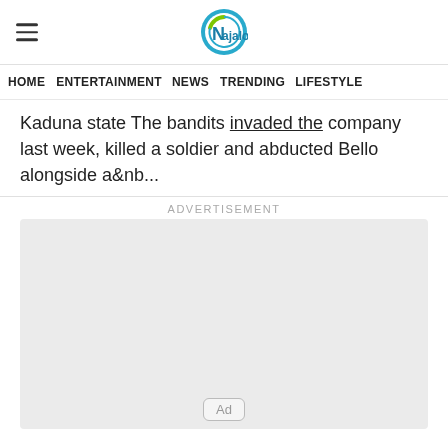Najalog (logo)
HOME  ENTERTAINMENT  NEWS  TRENDING  LIFESTYLE
Kaduna state The bandits invaded the company last week, killed a soldier and abducted Bello alongside a&nb...
ADVERTISEMENT
[Figure (other): Advertisement placeholder box with 'Ad' badge at the bottom center]